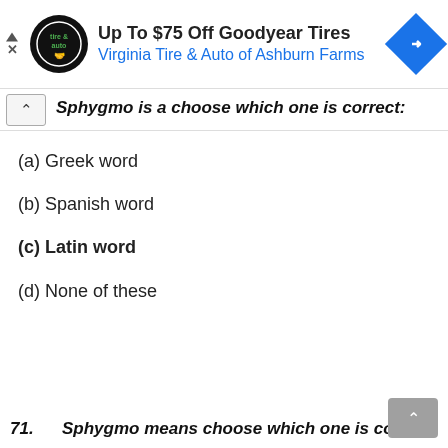[Figure (other): Advertisement banner: Up To $75 Off Goodyear Tires, Virginia Tire & Auto of Ashburn Farms, with tire & auto logo and blue navigation diamond icon]
Sphygmo is a choose which one is correct:
(a) Greek word
(b) Spanish word
(c) Latin word
(d) None of these
71.      Sphygmo means choose which one is correct: